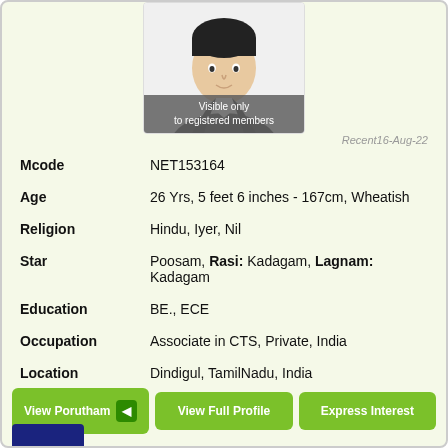[Figure (illustration): Avatar illustration of a male person with dark hair, wearing a suit. Overlaid with a semi-transparent banner reading 'Visible only to registered members'.]
Recent16-Aug-22
Mcode   NET153164
Age   26 Yrs, 5 feet 6 inches - 167cm, Wheatish
Religion   Hindu, Iyer, Nil
Star   Poosam, Rasi: Kadagam, Lagnam: Kadagam
Education   BE., ECE
Occupation   Associate in CTS, Private, India
Location   Dindigul, TamilNadu, India